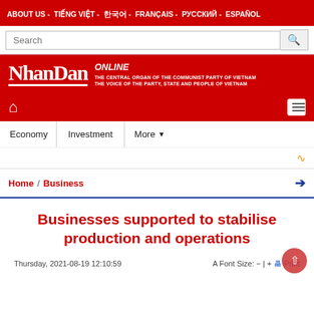ABOUT US - TIẾNG VIỆT - 한국어 - FRANÇAIS - РУССКИЙ - ESPAÑOL
[Figure (logo): Nhan Dan Online logo - The Central Organ of the Communist Party of Vietnam, The Voice of the Party, State and People of Vietnam]
Economy | Investment | More
Home / Business
Businesses supported to stabilise production and operations
Thursday, 2021-08-19 12:10:59    A Font Size: − | + Print